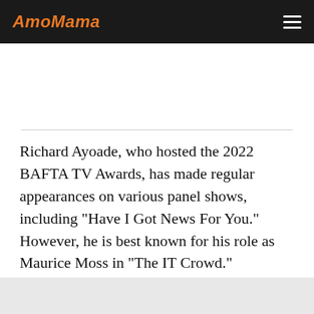AmoMama
Richard Ayoade, who hosted the 2022 BAFTA TV Awards, has made regular appearances on various panel shows, including "Have I Got News For You." However, he is best known for his role as Maurice Moss in "The IT Crowd."
Born to a Norwegian mother and a Nigerian father, Ayoade studied law at Cambridge and was the president of the theatrical club, Footlights, when he was t…